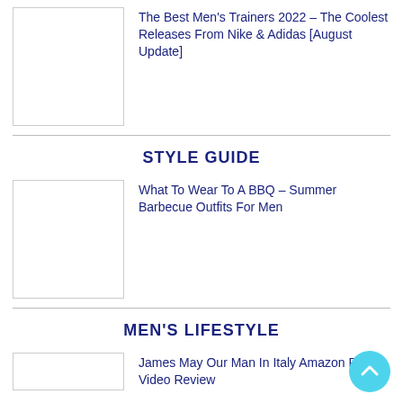[Figure (photo): Thumbnail image placeholder for trainers article]
The Best Men's Trainers 2022 – The Coolest Releases From Nike & Adidas [August Update]
STYLE GUIDE
[Figure (photo): Thumbnail image placeholder for BBQ outfits article]
What To Wear To A BBQ – Summer Barbecue Outfits For Men
MEN'S LIFESTYLE
[Figure (photo): Thumbnail image placeholder for James May article]
James May Our Man In Italy Amazon Prime Video Review